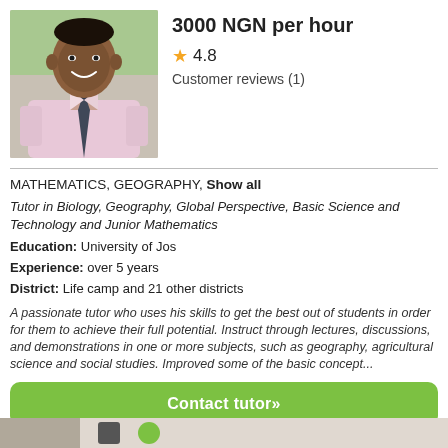[Figure (photo): Portrait photo of a man in a pink shirt and dark tie, smiling]
3000 NGN per hour
★ 4.8
Customer reviews (1)
MATHEMATICS, GEOGRAPHY, Show all
Tutor in Biology, Geography, Global Perspective, Basic Science and Technology and Junior Mathematics
Education: University of Jos
Experience: over 5 years
District: Life camp and 21 other districts
A passionate tutor who uses his skills to get the best out of students in order for them to achieve their full potential. Instruct through lectures, discussions, and demonstrations in one or more subjects, such as geography, agricultural science and social studies. Improved some of the basic concept...
Contact tutor»
More details »
[Figure (photo): Partial photo visible at bottom of page]